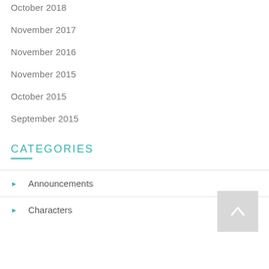October 2018
November 2017
November 2016
November 2015
October 2015
September 2015
CATEGORIES
Announcements
Characters